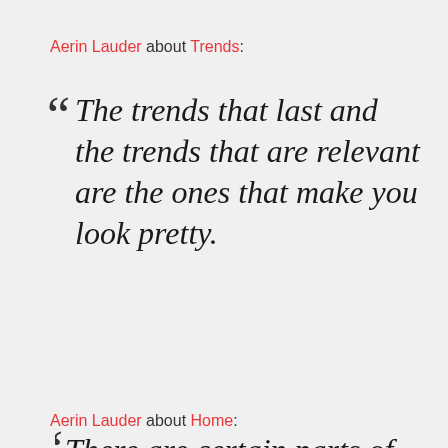Aerin Lauder about Trends:
“The trends that last and the trends that are relevant are the ones that make you look pretty.
Read More
Aerin Lauder about Home:
“There are certain parts of